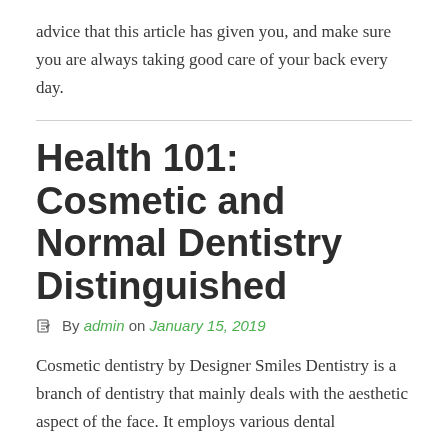advice that this article has given you, and make sure you are always taking good care of your back every day.
Health 101: Cosmetic and Normal Dentistry Distinguished
By admin on January 15, 2019
Cosmetic dentistry by Designer Smiles Dentistry is a branch of dentistry that mainly deals with the aesthetic aspect of the face. It employs various dental